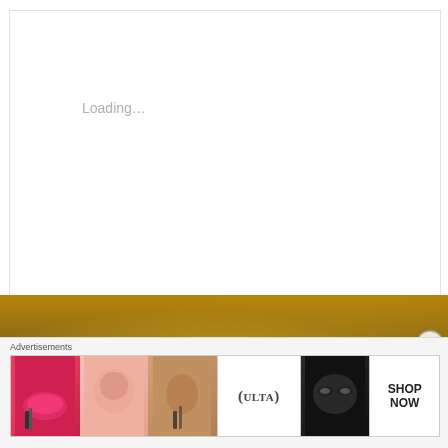Loading...
[Figure (photo): Golden ornate background with warm amber and gold tones, decorative architectural or artifact details]
MARTYRS, SAINT OF THE DAY, YOUTUBE VIDEOS
Memorials of the Saints – 2 April
Posted on April 2, 2020
Advertisements
[Figure (photo): Ulta Beauty advertisement banner showing makeup products and model faces with SHOP NOW call to action]